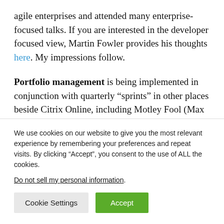agile enterprises and attended many enterprise-focused talks. If you are interested in the developer focused view, Martin Fowler provides his thoughts here. My impressions follow.
Portfolio management is being implemented in conjunction with quarterly “sprints” in other places beside Citrix Online, including Motley Fool (Max Keeler), Tektronix Communications (Brian Mills), and…
We use cookies on our website to give you the most relevant experience by remembering your preferences and repeat visits. By clicking “Accept”, you consent to the use of ALL the cookies.
Do not sell my personal information.
Cookie Settings | Accept